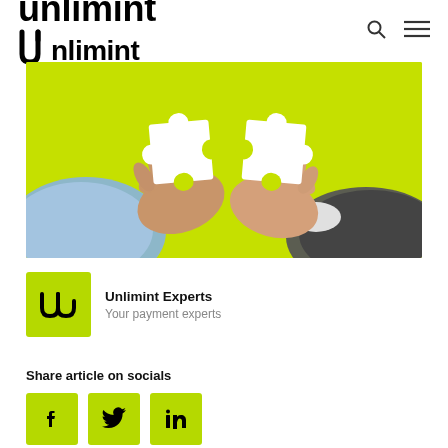Unlimint
[Figure (photo): Two hands holding white puzzle pieces about to connect, against a bright yellow-green background. Left hand wears a blue shirt cuff, right hand wears a dark suit cuff.]
Unlimint Experts
Your payment experts
Share article on socials
[Figure (infographic): Three social media icon buttons on lime green squares: Facebook (f), Twitter (bird), LinkedIn (in)]